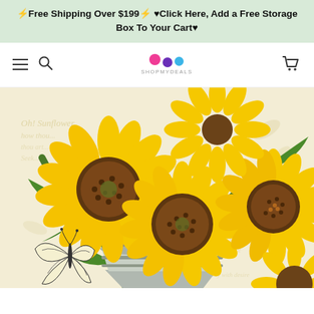⚡Free Shipping Over $199⚡ ♥Click Here, Add a Free Storage Box To Your Cart♥
[Figure (logo): ShopMyDeals logo — colored dots (pink, purple, blue) above the text SHOPMYDEALS]
[Figure (photo): Painting of three large yellow sunflowers with green leaves in a metal bucket, a black-and-white butterfly on the lower left, and vintage script text in the background]